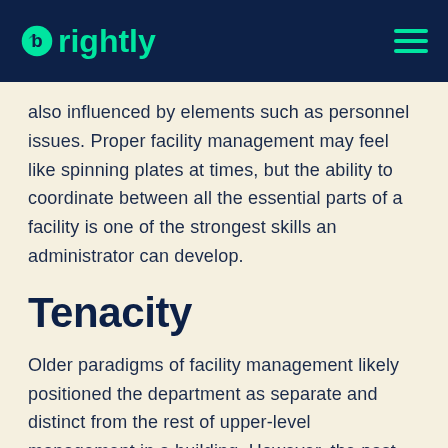Brightly
also influenced by elements such as personnel issues. Proper facility management may feel like spinning plates at times, but the ability to coordinate between all the essential parts of a facility is one of the strongest skills an administrator can develop.
Tenacity
Older paradigms of facility management likely positioned the department as separate and distinct from the rest of upper-level management in a building. However, the past several years have a period of evolution for the facility management